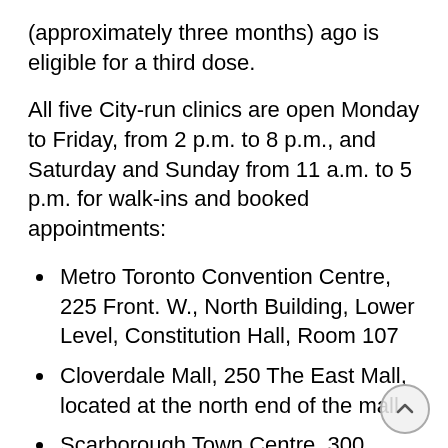(approximately three months) ago is eligible for a third dose.
All five City-run clinics are open Monday to Friday, from 2 p.m. to 8 p.m., and Saturday and Sunday from 11 a.m. to 5 p.m. for walk-ins and booked appointments:
Metro Toronto Convention Centre, 225 Front. W., North Building, Lower Level, Constitution Hall, Room 107
Cloverdale Mall, 250 The East Mall, located at the north end of the mall
Scarborough Town Centre, 300 Borough Dr., located on the east side of the centre on the upper level, near Entrance 2
Mitchell Field Community Centre, 89 Church Ave., located on the east side of the building the gym